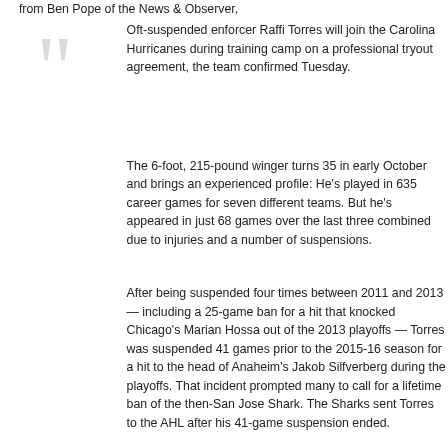from Ben Pope of the News & Observer,
Oft-suspended enforcer Raffi Torres will join the Carolina Hurricanes during training camp on a professional tryout agreement, the team confirmed Tuesday.
The 6-foot, 215-pound winger turns 35 in early October and brings an experienced profile: He's played in 635 career games for seven different teams. But he's appeared in just 68 games over the last three combined due to injuries and a number of suspensions.
After being suspended four times between 2011 and 2013 — including a 25-game ban for a hit that knocked Chicago's Marian Hossa out of the 2013 playoffs — Torres was suspended 41 games prior to the 2015-16 season for a hit to the head of Anaheim's Jakob Silfverberg during the playoffs. That incident prompted many to call for a lifetime ban of the then-San Jose Shark. The Sharks sent Torres to the AHL after his 41-game suspension ended.
News of the PTO agreement, which broke Monday before being confirmed Tuesday, was not well received by the fanbase as fans expressed dismay and concern on social media.
continued
Filed in: NHL Teams, Carolina Hurricanes, | KK Hockey | Permalink
Tags: raffi+torres